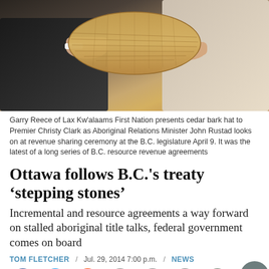[Figure (photo): Two people holding a woven cedar bark hat — a man in a dark suit on the left and a woman in a beige jacket on the right, at the B.C. legislature]
Garry Reece of Lax Kw'alaams First Nation presents cedar bark hat to Premier Christy Clark as Aboriginal Relations Minister John Rustad looks on at revenue sharing ceremony at the B.C. legislature April 9. It was the latest of a long series of B.C. resource revenue agreements
Ottawa follows B.C.'s treaty 'stepping stones'
Incremental and resource agreements a way forward on stalled aboriginal title talks, federal government comes on board
TOM FLETCHER  /  Jul. 29, 2014 7:00 p.m.  /  NEWS
VICTORIA – The federal government has responded to the